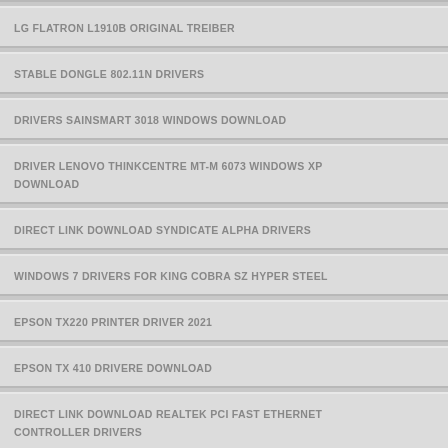LG FLATRON L1910B ORIGINAL TREIBER
STABLE DONGLE 802.11N DRIVERS
DRIVERS SAINSMART 3018 WINDOWS DOWNLOAD
DRIVER LENOVO THINKCENTRE MT-M 6073 WINDOWS XP DOWNLOAD
DIRECT LINK DOWNLOAD SYNDICATE ALPHA DRIVERS
WINDOWS 7 DRIVERS FOR KING COBRA SZ HYPER STEEL
EPSON TX220 PRINTER DRIVER 2021
EPSON TX 410 DRIVERE DOWNLOAD
DIRECT LINK DOWNLOAD REALTEK PCI FAST ETHERNET CONTROLLER DRIVERS
DRIVER XIAOMI REDMI 3 FASTBOOT WINDOWS 8.1